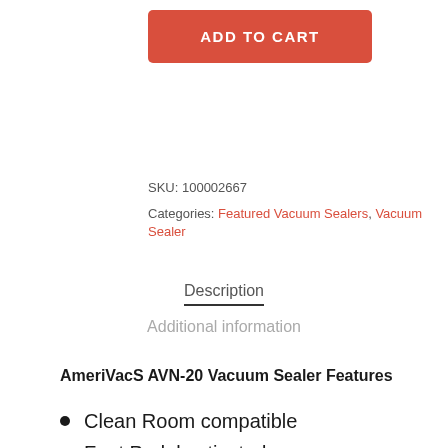ADD TO CART
SKU: 100002667
Categories: Featured Vacuum Sealers, Vacuum Sealer
Description
Additional information
AmeriVacS AVN-20 Vacuum Sealer Features
Clean Room compatible
Foot Pedal activated